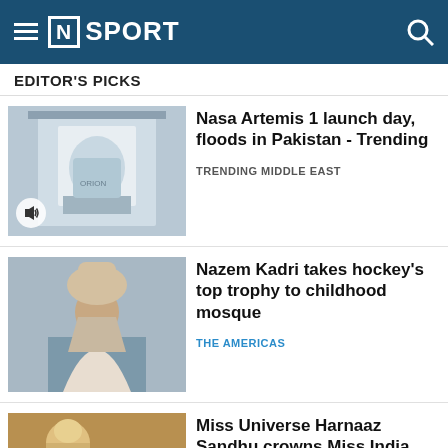[N] SPORT
EDITOR'S PICKS
[Figure (photo): NASA Artemis 1 spacecraft in assembly facility, large white structure with green components]
Nasa Artemis 1 launch day, floods in Pakistan - Trending
TRENDING MIDDLE EAST
[Figure (photo): Person holding Stanley Cup trophy above head in a mosque, crowd behind]
Nazem Kadri takes hockey's top trophy to childhood mosque
THE AMERICAS
[Figure (photo): Miss Universe Harnaaz Sandhu crowns Miss India, sparkly background]
Miss Universe Harnaaz Sandhu crowns Miss India